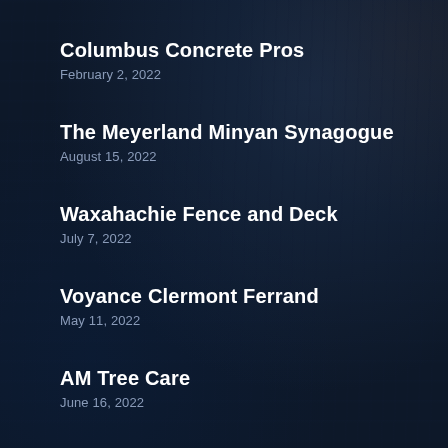Columbus Concrete Pros
February 2, 2022
The Meyerland Minyan Synagogue
August 15, 2022
Waxahachie Fence and Deck
July 7, 2022
Voyance Clermont Ferrand
May 11, 2022
AM Tree Care
June 16, 2022